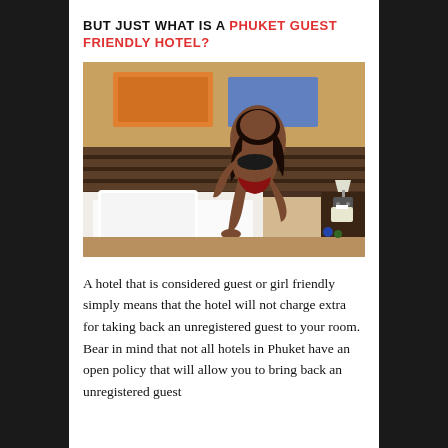BUT JUST WHAT IS A PHUKET GUEST FRIENDLY HOTEL?
[Figure (photo): Woman in bikini posing on a hotel bed in a room with yellow walls, dark wooden headboard, and hotel bedding.]
A hotel that is considered guest or girl friendly simply means that the hotel will not charge extra for taking back an unregistered guest to your room. Bear in mind that not all hotels in Phuket have an open policy that will allow you to bring back an unregistered guest